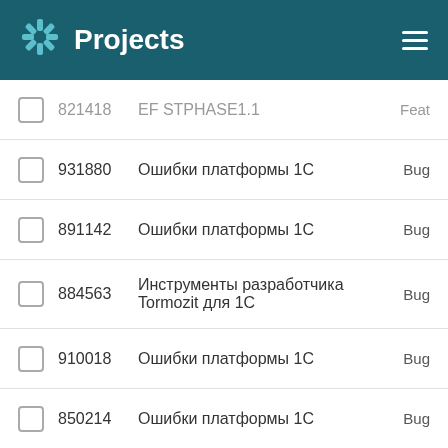Projects
821418  EF STPHASE1.1  Feat
931880  Ошибки платформы 1С  Bug
891142  Ошибки платформы 1С  Bug
884563  Инструменты разработчика Tormozit для 1С  Bug
910018  Ошибки платформы 1С  Bug
850214  Ошибки платформы 1С  Bug